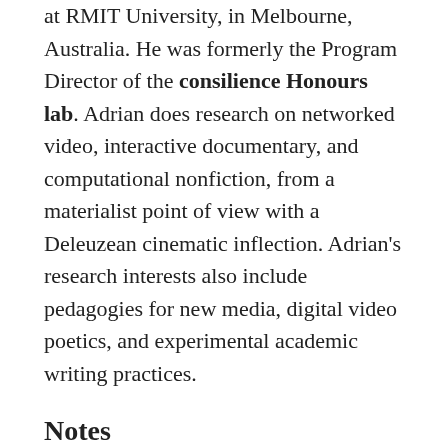at RMIT University, in Melbourne, Australia. He was formerly the Program Director of the consilience Honours lab. Adrian does research on networked video, interactive documentary, and computational nonfiction, from a materialist point of view with a Deleuzean cinematic inflection. Adrian's research interests also include pedagogies for new media, digital video poetics, and experimental academic writing practices.
Notes
1 This is only a list. Adrian J. Ivakhiv, Ecologies of the Moving Image: Cinema, Affect, Nature, Wilfrid Laurier University Press, 2013.
Arnau Gifreu, 'The Interactive Multimedia